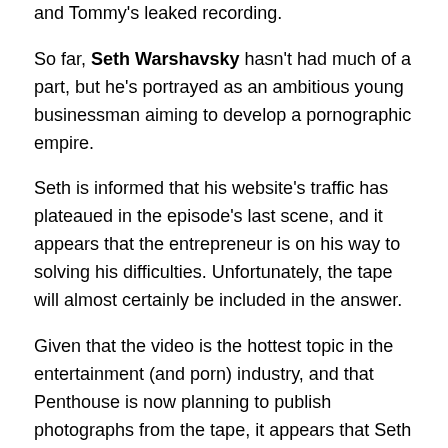and Tommy's leaked recording.
So far, Seth Warshavsky hasn't had much of a part, but he's portrayed as an ambitious young businessman aiming to develop a pornographic empire.
Seth is informed that his website's traffic has plateaued in the episode's last scene, and it appears that the entrepreneur is on his way to solving his difficulties. Unfortunately, the tape will almost certainly be included in the answer.
Given that the video is the hottest topic in the entertainment (and porn) industry, and that Penthouse is now planning to publish photographs from the tape, it appears that Seth will try to benefit from the recording as well.
It's unclear how lawful his business is, which will have an impact on how he uses the tape.